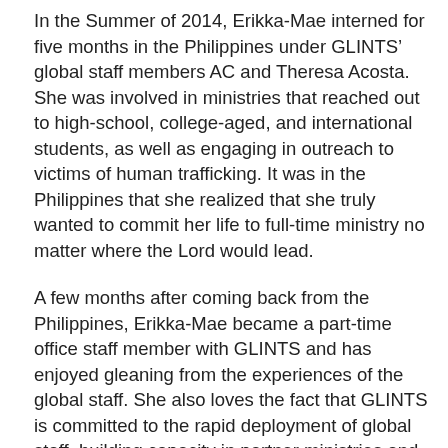In the Summer of 2014, Erikka-Mae interned for five months in the Philippines under GLINTS’ global staff members AC and Theresa Acosta.  She was involved in ministries that reached out to high-school, college-aged, and international students, as well as engaging in outreach to victims of human trafficking. It was in the Philippines that she realized that she truly wanted to commit her life to full-time ministry no matter where the Lord would lead.
A few months after coming back from the Philippines, Erikka-Mae became a part-time office staff member with GLINTS and has enjoyed gleaning from the experiences of the global staff. She also loves the fact that GLINTS is committed to the rapid deployment of global staff, building capacity in partner ministries and equipping local churches for missions-sending.
When not working at GLINTS, Erikka-Mae serves at her home church, and for the past five years has served as a